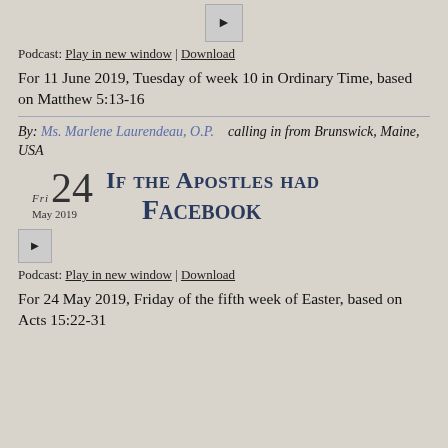[Figure (other): Play button (triangle) for audio player]
Podcast: Play in new window | Download
For 11 June 2019, Tuesday of week 10 in Ordinary Time, based on Matthew 5:13-16
By: Ms. Marlene Laurendeau, O.P.   calling in from Brunswick, Maine, USA
FRI 24 May 2019 — If the Apostles had Facebook
[Figure (other): Play button (triangle) for audio player]
Podcast: Play in new window | Download
For 24 May 2019, Friday of the fifth week of Easter, based on Acts 15:22-31